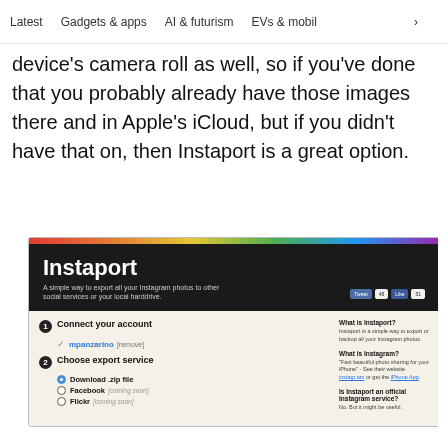Latest   Gadgets & apps   AI & futurism   EVs & mobil  >
device's camera roll as well, so if you've done that you probably already have those images there and in Apple's iCloud, but if you didn't have that on, then Instaport is a great option.
[Figure (screenshot): Screenshot of the Instaport website showing a dark header with the title 'Instaport' and subtitle 'A simple way to export all your Instagram photos to other social services or your local harddrive.' Below is a cream-colored body showing steps: 1. Connect your account (with mpanzarino checked), 2. Choose export service (with Download .zip file, Facebook coming soon, Flickr coming soon options). Right sidebar shows FAQ about Instaport and Instagram.]